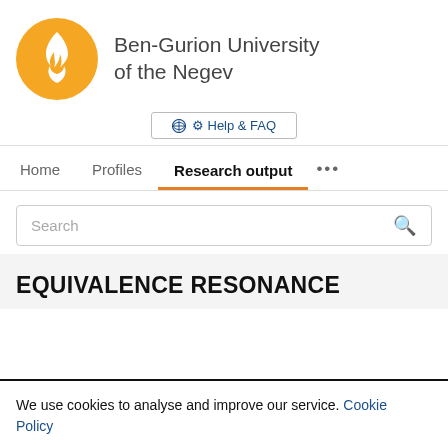[Figure (logo): Ben-Gurion University of the Negev logo: orange circle with white flame/torch symbol]
Ben-Gurion University of the Negev
Help & FAQ
Home   Profiles   Research output   ...
Search
EQUIVALENCE RESONANCE
We use cookies to analyse and improve our service. Cookie Policy